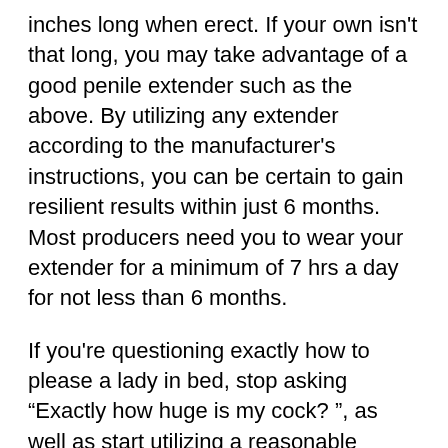inches long when erect. If your own isn't that long, you may take advantage of a good penile extender such as the above. By utilizing any extender according to the manufacturer's instructions, you can be certain to gain resilient results within just 6 months. Most producers need you to wear your extender for a minimum of 7 hrs a day for not less than 6 months.
If you're questioning exactly how to please a lady in bed, stop asking “Exactly how huge is my cock? ”, as well as start utilizing a reasonable approach rather. It would certainly be a lot more useful to concentrate on the size of your dicks and how you can boost its dimension. You can discover more on this at: